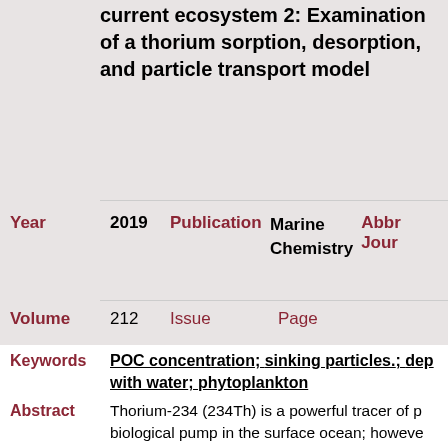current ecosystem 2: Examination of a thorium sorption, desorption, and particle transport model
Year  2019  Publication  Marine Chemistry  Abbr  Jour
Volume  212  Issue  Page
Keywords  POC concentration; sinking particles.; dep with water; phytoplankton
Abstract  Thorium-234 (234Th) is a powerful tracer of p biological pump in the surface ocean; however, thorium ratios of sinking particles adds substa estimates of organic carbon export. We coup sorption and desorption model to a one-dime model that uses realistic particle settling veloc generates estimates of 238U234Th disequilib